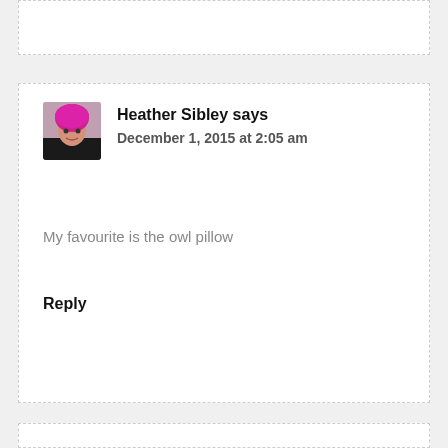Heather Sibley says
December 1, 2015 at 2:05 am
My favourite is the owl pillow
Reply